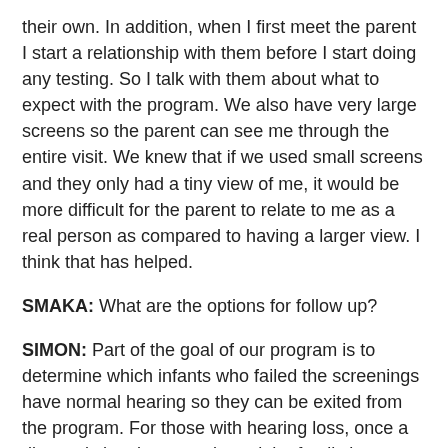their own. In addition, when I first meet the parent I start a relationship with them before I start doing any testing. So I talk with them about what to expect with the program. We also have very large screens so the parent can see me through the entire visit. We knew that if we used small screens and they only had a tiny view of me, it would be more difficult for the parent to relate to me as a real person as compared to having a larger view. I think that has helped.
SMAKA: What are the options for follow up?
SIMON: Part of the goal of our program is to determine which infants who failed the screenings have normal hearing so they can be exited from the program. For those with hearing loss, once a diagnosis has been made and the family knows there is an issue, they are more likely to work out what is needed, even if it involves driving to a